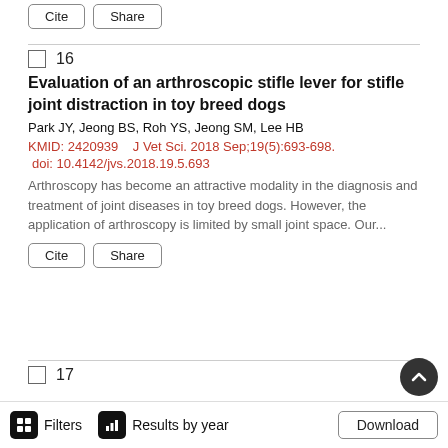Cite  Share (buttons at top)
16
Evaluation of an arthroscopic stifle lever for stifle joint distraction in toy breed dogs
Park JY, Jeong BS, Roh YS, Jeong SM, Lee HB
KMID: 2420939  J Vet Sci. 2018 Sep;19(5):693-698.
doi: 10.4142/jvs.2018.19.5.693
Arthroscopy has become an attractive modality in the diagnosis and treatment of joint diseases in toy breed dogs. However, the application of arthroscopy is limited by small joint space. Our...
17